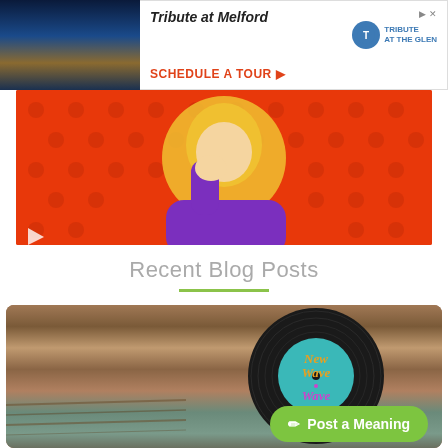[Figure (illustration): Advertisement banner for Tribute at Melford showing building photo on left, with italic bold text 'Tribute at Melford', red CTA 'SCHEDULE A TOUR ▶', Tribute logo on right, and X close button]
[Figure (illustration): Cartoon illustration of a blonde woman in purple top on a red polka-dot background, holding her hand near her face]
Recent Blog Posts
[Figure (photo): Photo of a vinyl record with a teal label reading 'New Wave' in retro script on a weathered wood background]
Post a Meaning